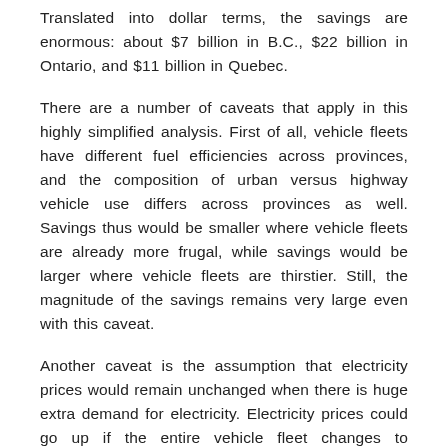Translated into dollar terms, the savings are enormous: about $7 billion in B.C., $22 billion in Ontario, and $11 billion in Quebec.
There are a number of caveats that apply in this highly simplified analysis. First of all, vehicle fleets have different fuel efficiencies across provinces, and the composition of urban versus highway vehicle use differs across provinces as well. Savings thus would be smaller where vehicle fleets are already more frugal, while savings would be larger where vehicle fleets are thirstier. Still, the magnitude of the savings remains very large even with this caveat.
Another caveat is the assumption that electricity prices would remain unchanged when there is huge extra demand for electricity. Electricity prices could go up if the entire vehicle fleet changes to electricity. But how much? The levelized cost of new electricity capacity would not necessarily increase much; this is mostly determined by technology. The more likely source of cost increases would be the remuneration paid to existing generators.